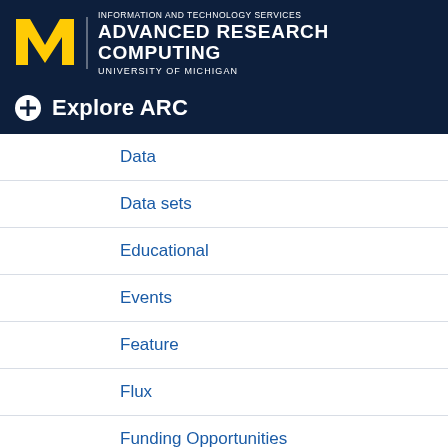INFORMATION AND TECHNOLOGY SERVICES ADVANCED RESEARCH COMPUTING UNIVERSITY OF MICHIGAN
Explore ARC
Data
Data sets
Educational
Events
Feature
Flux
Funding Opportunities
General Interest
Great Lakes